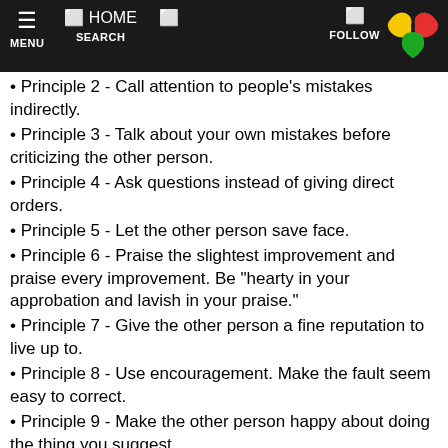MENU  HOME  SEARCH  FOLLOW
Principle 2 - Call attention to people's mistakes indirectly.
Principle 3 - Talk about your own mistakes before criticizing the other person.
Principle 4 - Ask questions instead of giving direct orders.
Principle 5 - Let the other person save face.
Principle 6 - Praise the slightest improvement and praise every improvement. Be "hearty in your approbation and lavish in your praise."
Principle 7 - Give the other person a fine reputation to live up to.
Principle 8 - Use encouragement. Make the fault seem easy to correct.
Principle 9 - Make the other person happy about doing the thing you suggest.
Seven Rules For Making Your Home Life Happier
Rule 1: Don't nag.
Rule 2: Don't try to make your partner over.
Rule 3: Don't criticize.
Rule 4: Give honest appreciation.